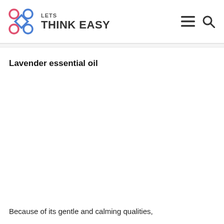LETS THINK EASY
Lavender essential oil
Because of its gentle and calming qualities,